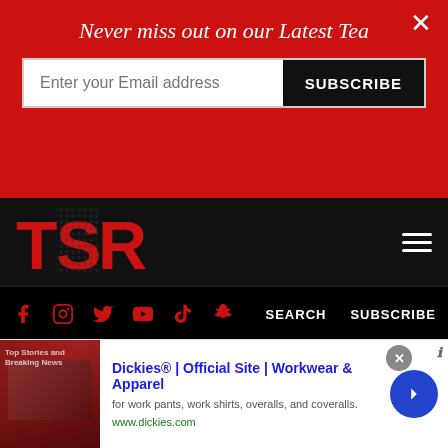Never miss out on our Latest Tea
Enter your Email address
SUBSCRIBE
[Figure (logo): TSR logo in red on black background]
SEARCH   SUBSCRIBE
[Figure (photo): Dark background photo of person in pink outfit, used as hero image]
CELEBS
Dreezy Talks Jacquees Break Up,
[Figure (infographic): Advertisement banner for Dickies Official Site - Workwear & Apparel. Shows image of leather chairs on left, with text: Dickies® | Official Site | Workwear & Apparel, for work pants, work shirts, overalls, and coveralls. www.dickies.com. Blue circle arrow button on right.]